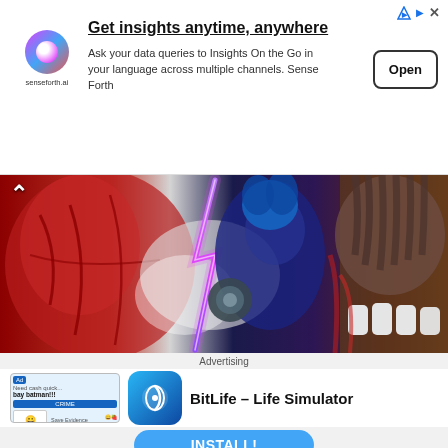[Figure (screenshot): Senseforth.ai advertisement banner with logo, headline 'Get insights anytime, anywhere', body text about data queries, and an Open button]
[Figure (illustration): Anime manga artwork showing muscular figures with lightning bolt in blue/dark background, red muscled body on left, brown figure with white teeth on right]
Chapter 1044 shows how Kaido s been nothing short of an
[Figure (screenshot): BitLife - Life Simulator app install advertisement with game thumbnail, app icon, app name, and INSTALL! button]